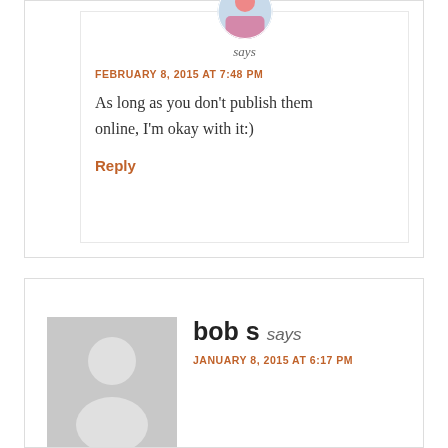[Figure (photo): Circular avatar image of a commenter at the top, partially visible]
says
FEBRUARY 8, 2015 AT 7:48 PM
As long as you don't publish them online, I'm okay with it:)
Reply
[Figure (illustration): Default gray avatar silhouette for user 'bob s']
bob s says
JANUARY 8, 2015 AT 6:17 PM